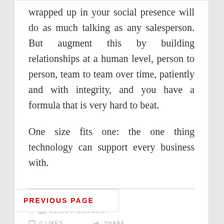wrapped up in your social presence will do as much talking as any salesperson. But augment this by building relationships at a human level, person to person, team to team over time, patiently and with integrity, and you have a formula that is very hard to beat.
One size fits one: the one thing technology can support every business with.
CONTINUE READING
LEAVE A COMMENT
0 LIKES
SHARE
PREVIOUS PAGE